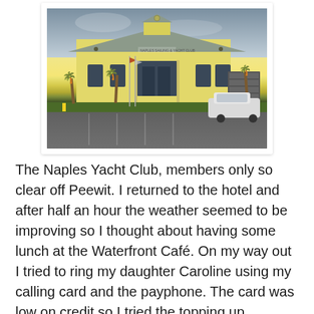[Figure (photo): Photograph of the Naples Yacht Club building — a yellow two-story structure with a grey hip roof and central cupola, palm trees in front, paved parking lot, and a white car parked to the right. Overcast sky in background.]
The Naples Yacht Club, members only so clear off Peewit. I returned to the hotel and after half an hour the weather seemed to be improving so I thought about having some lunch at the Waterfront Café. On my way out I tried to ring my daughter Caroline using my calling card and the payphone. The card was low on credit so I tried the topping up procedure. I eventually discovered that you had to have a US issued credit card to do this. I asked at reception for somewhere I could buy a new card and they said the Mobil station on 41. I was back on my bike cycling into a headwind and after 15 minutes hard cycling I purchased my top dollar